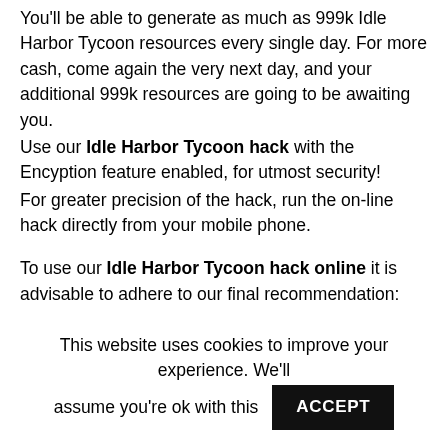You'll be able to generate as much as 999k Idle Harbor Tycoon resources every single day. For more cash, come again the very next day, and your additional 999k resources are going to be awaiting you.
Use our Idle Harbor Tycoon hack with the Encyption feature enabled, for utmost security!
For greater precision of the hack, run the on-line hack directly from your mobile phone.
To use our Idle Harbor Tycoon hack online it is advisable to adhere to our final recommendation:
Remember the fact that the hacking mechanism behind our Idle Harbor Tycoon hack is operating safely on our
This website uses cookies to improve your experience. We'll assume you're ok with this ACCEPT